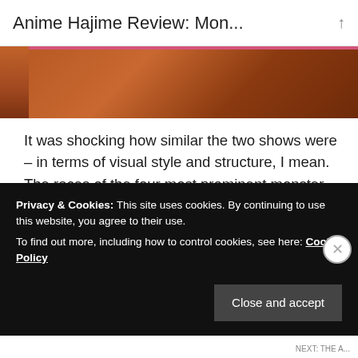Anime Hajime Review: Mon...
[Figure (photo): Partial view of an anime character, dark reddish-orange tones, appears to be a screenshot from Monster Girl Doctor or Monster Musume]
It was shocking how similar the two shows were – in terms of visual style and structure, I mean. The races of the four most prominent monster girls in Monster Girl Doctor were a lamia, a centaur, a mermaid, and an Arachne. In Monster Musume, there was:
Privacy & Cookies: This site uses cookies. By continuing to use this website, you agree to their use.
To find out more, including how to control cookies, see here: Cookie Policy